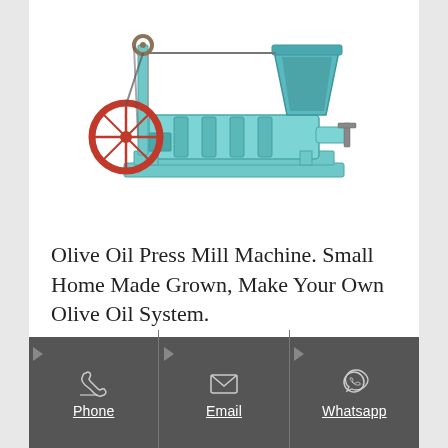[Figure (photo): A teal/green colored olive oil press mill machine with a red flywheel on the left, a screw press barrel in the middle, and a teal hopper on the upper right. The machine sits on a rectangular base frame.]
Olive Oil Press Mill Machine. Small Home Made Grown, Make Your Own Olive Oil System.
[Figure (infographic): Dark gray footer bar with three contact options: Phone (telephone icon), Email (envelope icon), Whatsapp (WhatsApp icon). Each section has a small right-pointing triangle at the top.]